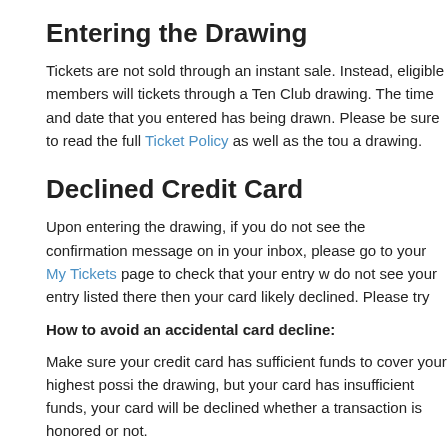Entering the Drawing
Tickets are not sold through an instant sale. Instead, eligible members will tickets through a Ten Club drawing. The time and date that you entered has being drawn. Please be sure to read the full Ticket Policy as well as the tou a drawing.
Declined Credit Card
Upon entering the drawing, if you do not see the confirmation message on in your inbox, please go to your My Tickets page to check that your entry w do not see your entry listed there then your card likely declined. Please try
How to avoid an accidental card decline:
Make sure your credit card has sufficient funds to cover your highest possi the drawing, but your card has insufficient funds, your card will be declined whether a transaction is honored or not.
In order to avoid a payment decline, we recommend you contact your bank
There will be a $1 authorization held on your card when you have
A final charge from a US-based company may be attempted on th